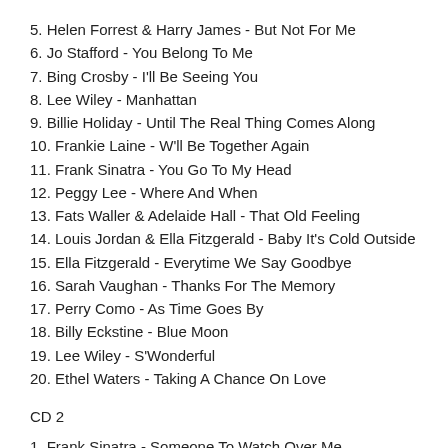5. Helen Forrest & Harry James - But Not For Me
6. Jo Stafford - You Belong To Me
7. Bing Crosby - I'll Be Seeing You
8. Lee Wiley - Manhattan
9. Billie Holiday - Until The Real Thing Comes Along
10. Frankie Laine - W'll Be Together Again
11. Frank Sinatra - You Go To My Head
12. Peggy Lee - Where And When
13. Fats Waller & Adelaide Hall - That Old Feeling
14. Louis Jordan & Ella Fitzgerald - Baby It's Cold Outside
15. Ella Fitzgerald - Everytime We Say Goodbye
16. Sarah Vaughan - Thanks For The Memory
17. Perry Como - As Time Goes By
18. Billy Eckstine - Blue Moon
19. Lee Wiley - S'Wonderful
20. Ethel Waters - Taking A Chance On Love
CD 2
1. Frank Sinatra - Someone To Watch Over Me